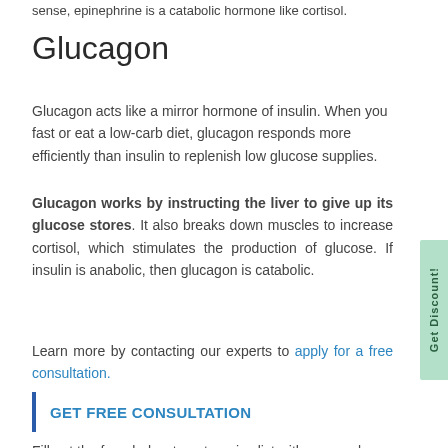sense, epinephrine is a catabolic hormone like cortisol.
Glucagon
Glucagon acts like a mirror hormone of insulin. When you fast or eat a low-carb diet, glucagon responds more efficiently than insulin to replenish low glucose supplies.
Glucagon works by instructing the liver to give up its glucose stores. It also breaks down muscles to increase cortisol, which stimulates the production of glucose. If insulin is anabolic, then glucagon is catabolic.
Learn more by contacting our experts to apply for a free consultation.
GET FREE CONSULTATION
Fill out the form below to get a price list with personal